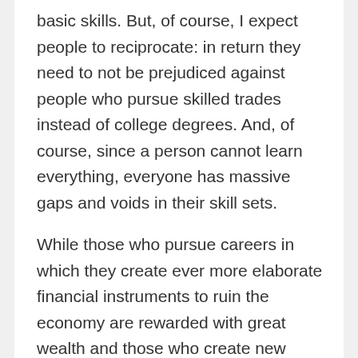basic skills. But, of course, I expect people to reciprocate: in return they need to not be prejudiced against people who pursue skilled trades instead of college degrees. And, of course, since a person cannot learn everything, everyone has massive gaps and voids in their skill sets.
While those who pursue careers in which they create ever more elaborate financial instruments to ruin the economy are rewarded with great wealth and those who create new frivolous apps are praised, it should be remembered that the infrastructure of civilization that makes all